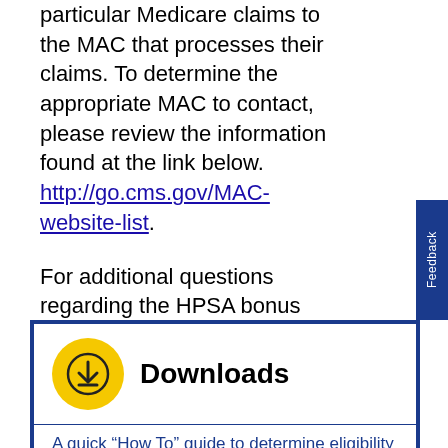particular Medicare claims to the MAC that processes their claims. To determine the appropriate MAC to contact, please review the information found at the link below. http://go.cms.gov/MAC-website-list.
For additional questions regarding the HPSA bonus program, physicians should direct questions to their Medicare Administrative Contractor.
[Figure (other): Downloads section with yellow circular download icon and bold 'Downloads' heading, followed by a link 'A quick "How To" guide to determine eligibility']
A quick “How To” guide to determine eligibility